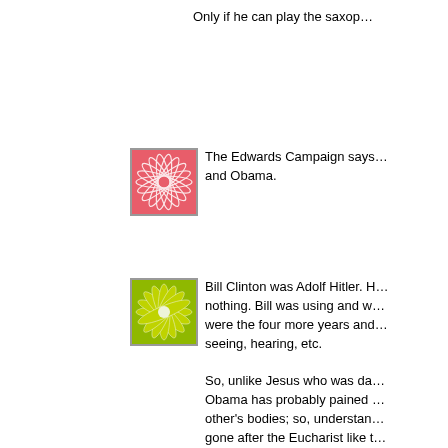Only if he can play the saxop...
[Figure (illustration): Pink floral mandala pattern in a square frame]
The Edwards Campaign says... and Obama.
[Figure (illustration): Yellow-green floral mandala pattern in a square frame]
Bill Clinton was Adolf Hitler. H... nothing. Bill was using and w... were the four more years and... seeing, hearing, etc.
So, unlike Jesus who was da... Obama has probably pained... other's bodies; so, understan... gone after the Eucharist like t... being damned humans who's... luciferians who think they are...
Charisma is the same as Che... wondering if it was that South... and assumed Dick and got so...